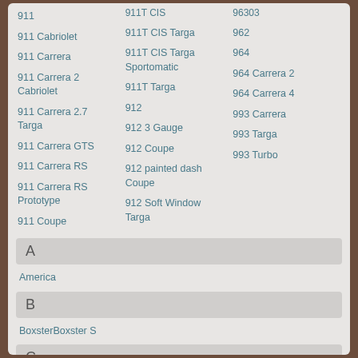911
911 Cabriolet
911 Carrera
911 Carrera 2 Cabriolet
911 Carrera 2.7 Targa
911 Carrera GTS
911 Carrera RS
911 Carrera RS Prototype
911 Coupe
911T CIS
911T CIS Targa
911T CIS Targa Sportomatic
911T Targa
912
912 3 Gauge
912 Coupe
912 painted dash Coupe
912 Soft Window Targa
96303
962
964
964 Carrera 2
964 Carrera 4
993 Carrera
993 Targa
993 Turbo
A
America
B
Boxster
Boxster S
C
Carrera
Carrera Cabriolet
Cayman